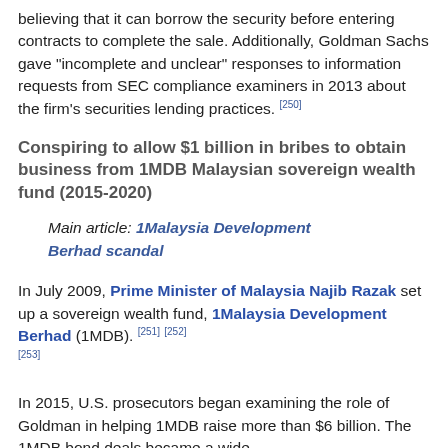believing that it can borrow the security before entering contracts to complete the sale. Additionally, Goldman Sachs gave "incomplete and unclear" responses to information requests from SEC compliance examiners in 2013 about the firm's securities lending practices. [250]
Conspiring to allow $1 billion in bribes to obtain business from 1MDB Malaysian sovereign wealth fund (2015-2020)
Main article: 1Malaysia Development Berhad scandal
In July 2009, Prime Minister of Malaysia Najib Razak set up a sovereign wealth fund, 1Malaysia Development Berhad (1MDB). [251] [252] [253]
In 2015, U.S. prosecutors began examining the role of Goldman in helping 1MDB raise more than $6 billion. The 1MDB bond deals became a wide...